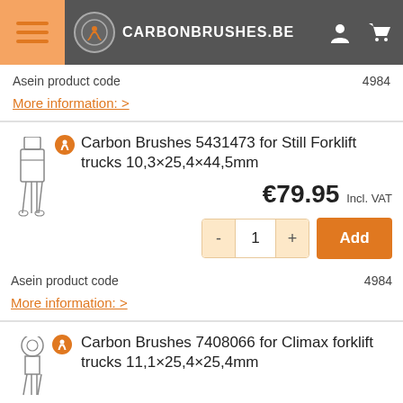CARBONBRUSHES.BE
Asein product code	4984
More information: >
Carbon Brushes 5431473 for Still Forklift trucks 10,3×25,4×44,5mm
€79.95 Incl. VAT
Asein product code	4984
More information: >
Carbon Brushes 7408066 for Climax forklift trucks 11,1×25,4×25,4mm